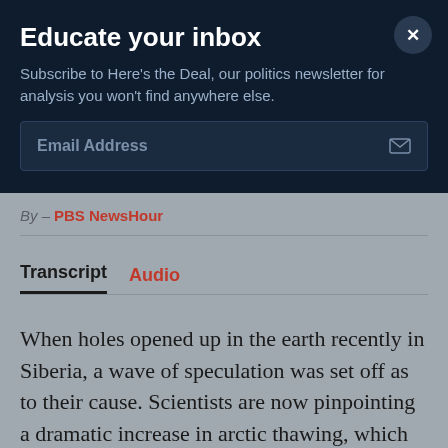Educate your inbox
Subscribe to Here's the Deal, our politics newsletter for analysis you won't find anywhere else.
Email Address
By – PBS NewsHour
Transcript  Audio
When holes opened up in the earth recently in Siberia, a wave of speculation was set off as to their cause. Scientists are now pinpointing a dramatic increase in arctic thawing, which may